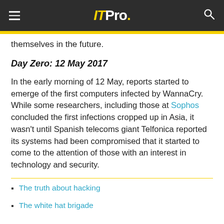ITPro.
themselves in the future.
Day Zero: 12 May 2017
In the early morning of 12 May, reports started to emerge of the first computers infected by WannaCry. While some researchers, including those at Sophos concluded the first infections cropped up in Asia, it wasn't until Spanish telecoms giant Telfonica reported its systems had been compromised that it started to come to the attention of those with an interest in technology and security.
The truth about hacking
The white hat brigade